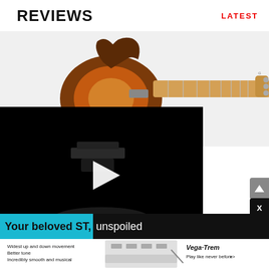REVIEWS
LATEST
[Figure (photo): Electric guitar with sunburst finish and maple neck, shown from the side against white background]
[Figure (screenshot): Dark video player overlay showing a guitar bridge/tremolo piece, with a play button triangle in the center]
CM Review
Taylor 724ce Review
Walrus Audio Slötvå Review
Line ...
Fend...
[Figure (infographic): Advertisement banner: 'Your beloved ST, unspoiled' — Vega-Trem tremolo product ad. White bottom row with text: 'Widest up and down movement', 'Better tone', 'Incredibly smooth and musical', with an image of the tremolo hardware and Vega-Trem logo. 'Play like never before >>']